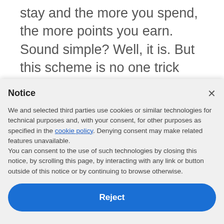stay and the more you spend, the more points you earn. Sound simple? Well, it is. But this scheme is no one trick pony, with the annoucement of a partnership with Singapore Airlines in 2016 which allowed people to get rewards every step of the
Notice
We and selected third parties use cookies or similar technologies for technical purposes and, with your consent, for other purposes as specified in the cookie policy. Denying consent may make related features unavailable.
You can consent to the use of such technologies by closing this notice, by scrolling this page, by interacting with any link or button outside of this notice or by continuing to browse otherwise.
Reject